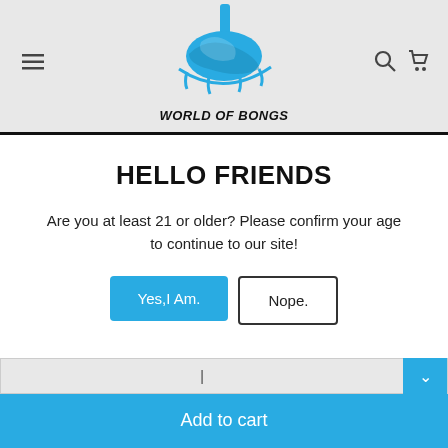World of Bongs
HELLO FRIENDS
Are you at least 21 or older? Please confirm your age to continue to our site!
Yes,I Am.   Nope.
Add to cart
Arrive by: Monday, 05 September - Monday, 12 September